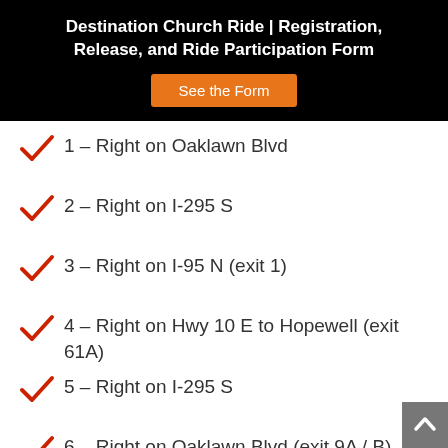Destination Church Ride | Registration, Release, and Ride Participation Form
1 – Right on Oaklawn Blvd
2 – Right on I-295 S
3 – Right on I-95 N (exit 1)
4 – Right on Hwy 10 E to Hopewell (exit 61A)
5 – Right on I-295 S
6 – Right on Oaklawn Blvd (exit 9A / B)